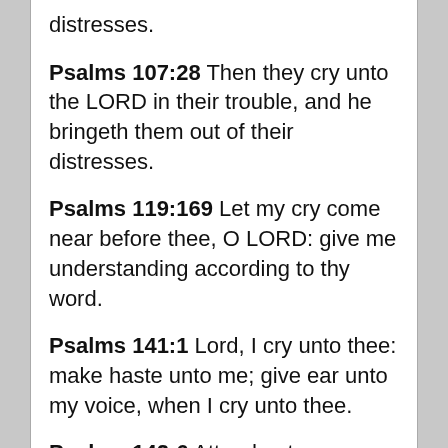distresses.
Psalms 107:28  Then they cry unto the LORD in their trouble, and he bringeth them out of their distresses.
Psalms 119:169  Let my cry come near before thee, O LORD: give me understanding according to thy word.
Psalms 141:1  Lord, I cry unto thee: make haste unto me; give ear unto my voice, when I cry unto thee.
Psalms 142:6  Attend unto my